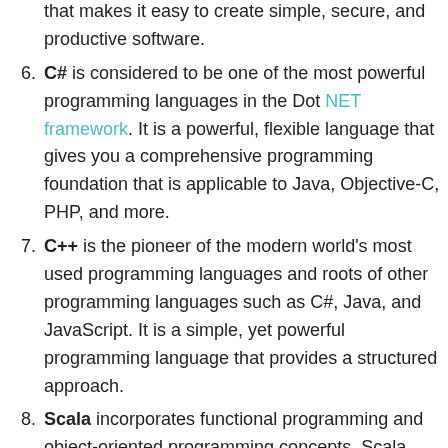that makes it easy to create simple, secure, and productive software.
C# is considered to be one of the most powerful programming languages in the Dot NET framework. It is a powerful, flexible language that gives you a comprehensive programming foundation that is applicable to Java, Objective-C, PHP, and more.
C++ is the pioneer of the modern world's most used programming languages and roots of other programming languages such as C#, Java, and JavaScript. It is a simple, yet powerful programming language that provides a structured approach.
Scala incorporates functional programming and object-oriented programming concepts. Scala stands for scalable language, so it can be used to write short scripts or to build large complex systems.